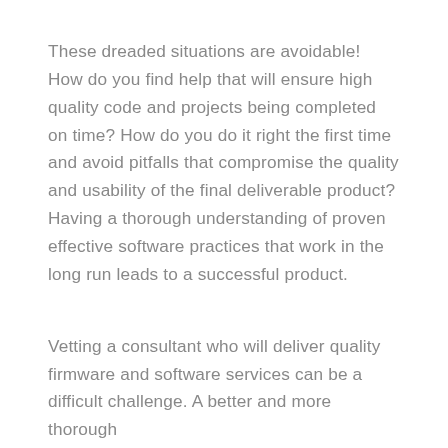These dreaded situations are avoidable! How do you find help that will ensure high quality code and projects being completed on time? How do you do it right the first time and avoid pitfalls that compromise the quality and usability of the final deliverable product? Having a thorough understanding of proven effective software practices that work in the long run leads to a successful product.
Vetting a consultant who will deliver quality firmware and software services can be a difficult challenge. A better and more thorough